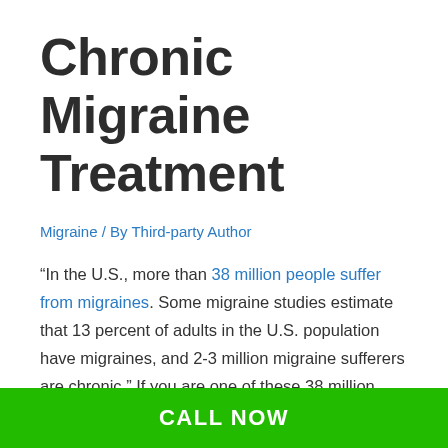Chronic Migraine Treatment
Migraine / By Third-party Author
“In the U.S., more than 38 million people suffer from migraines. Some migraine studies estimate that 13 percent of adults in the U.S. population have migraines, and 2-3 million migraine sufferers are chronic.” If you are one of these 38 million people, you understand the pain and suffering caused by migraines. Migraines can impact your ability to live your life fully and force you to miss time at your job and with your family. While no one knows exactly what causes migraines, there are many strategies you can employ
CALL NOW